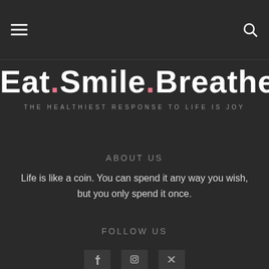Eat.Smile.Breathe — THE HEALTHIEST RESPONSE TO LIFE IS JOY
Eat.Smile.Breathe
ABOUT US
Life is like a coin. You can spend it any way you wish, but you only spend it once.
FOLLOW US